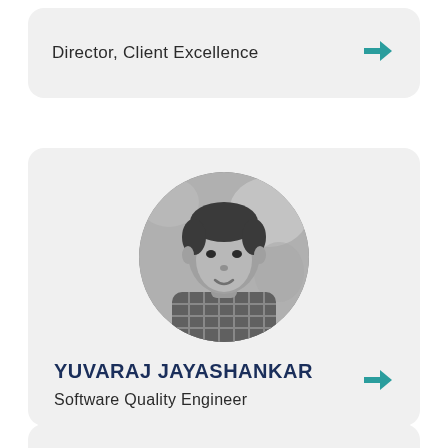Director, Client Excellence
[Figure (photo): Arrow icon pointing right, teal color]
[Figure (photo): Circular grayscale portrait photo of Yuvaraj Jayashankar, a young man wearing a plaid shirt, photographed outdoors with blurred background]
YUVARAJ JAYASHANKAR
Software Quality Engineer
[Figure (photo): Arrow icon pointing right, teal color]